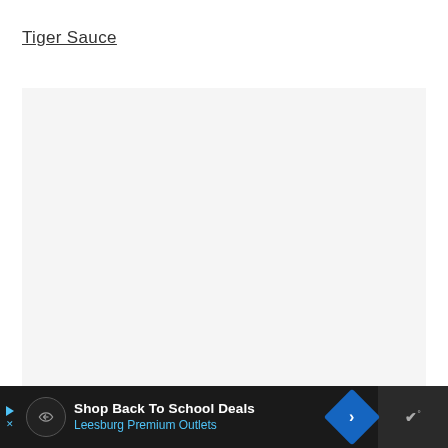Tiger Sauce
[Figure (photo): Large light gray placeholder image area below the Tiger Sauce title]
Shop Back To School Deals
Leesburg Premium Outlets